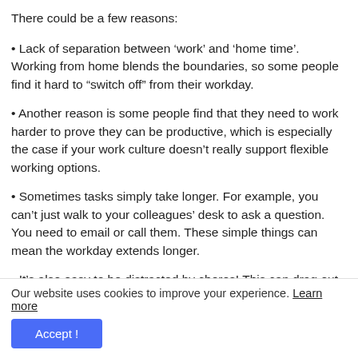There could be a few reasons:
• Lack of separation between ‘work’ and ‘home time’. Working from home blends the boundaries, so some people find it hard to “switch off” from their workday.
• Another reason is some people find that they need to work harder to prove they can be productive, which is especially the case if your work culture doesn’t really support flexible working options.
• Sometimes tasks simply take longer. For example, you can’t just walk to your colleagues’ desk to ask a question. You need to email or call them. These simple things can mean the workday extends longer.
• It’s also easy to be distracted by chores! This can drag out the day, so you basically end up doing several jobs at the
Our website uses cookies to improve your experience. Learn more
Accept !